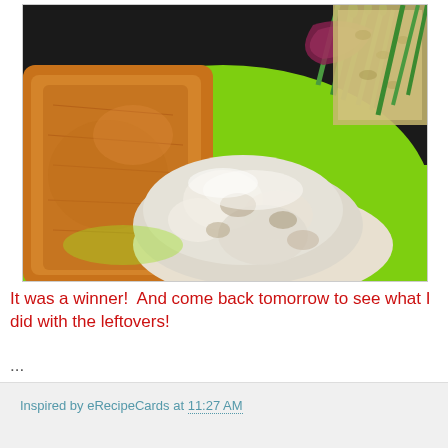[Figure (photo): A plate with breaded fried chicken or pork schnitzel on a bright green plate, alongside chunky mashed potatoes with cream/sour cream, asparagus with red onion, and a grain/stuffing side dish.]
It was a winner!  And come back tomorrow to see what I did with the leftovers!
...
Inspired by eRecipeCards at 11:27 AM